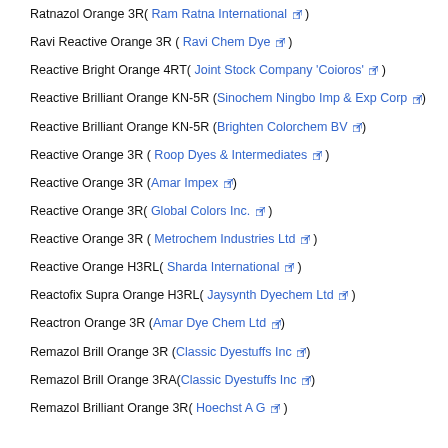Ratnazol Orange 3R( Ram Ratna International )
Ravi Reactive Orange 3R ( Ravi Chem Dye )
Reactive Bright Orange 4RT( Joint Stock Company 'Coioros' )
Reactive Brilliant Orange KN-5R (Sinochem Ningbo Imp & Exp Corp)
Reactive Brilliant Orange KN-5R (Brighten Colorchem BV)
Reactive Orange 3R ( Roop Dyes & Intermediates )
Reactive Orange 3R (Amar Impex)
Reactive Orange 3R( Global Colors Inc. )
Reactive Orange 3R ( Metrochem Industries Ltd )
Reactive Orange H3RL( Sharda International )
Reactofix Supra Orange H3RL( Jaysynth Dyechem Ltd )
Reactron Orange 3R (Amar Dye Chem Ltd)
Remazol Brill Orange 3R (Classic Dyestuffs Inc)
Remazol Brill Orange 3RA(Classic Dyestuffs Inc)
Remazol Brilliant Orange 3R( Hoechst A G )